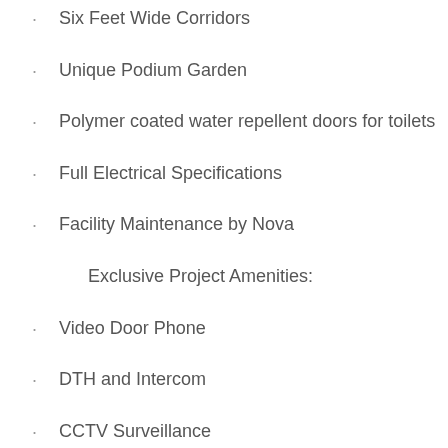Six Feet Wide Corridors
Unique Podium Garden
Polymer coated water repellent doors for toilets
Full Electrical Specifications
Facility Maintenance by Nova
Exclusive Project Amenities:
Video Door Phone
DTH and Intercom
CCTV Surveillance
Main Door with Biometric Locks
Gymnasium